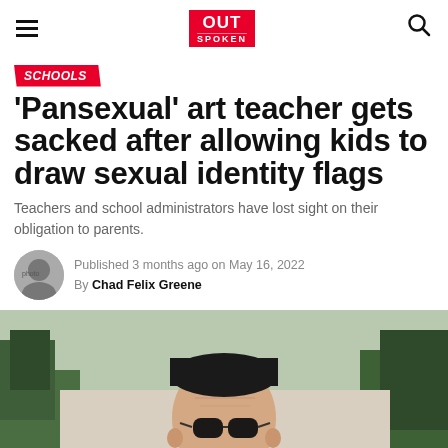OUT SPOKEN
SCHOOLS
'Pansexual' art teacher gets sacked after allowing kids to draw sexual identity flags
Teachers and school administrators have lost sight on their obligation to parents.
Published 3 months ago on May 16, 2022
By Chad Felix Greene
[Figure (photo): A person wearing dark sunglasses and a dark beanie, photographed outdoors with greenery visible in the background.]